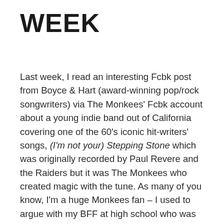WEEK
Last week, I read an interesting Fcbk post from Boyce & Hart (award-winning pop/rock songwriters) via The Monkees' Fcbk account about a young indie band out of California covering one of the 60's iconic hit-writers' songs, (I'm not your) Stepping Stone which was originally recorded by Paul Revere and the Raiders but it was The Monkees who created magic with the tune. As many of you know, I'm a huge Monkees fan – I used to argue with my BFF at high school who was better, The Monkees or the Rolling Stones (LOL) – then in the 80's I got to work press for the eastern Canadian leg of their original reunion tour (sans Mike…